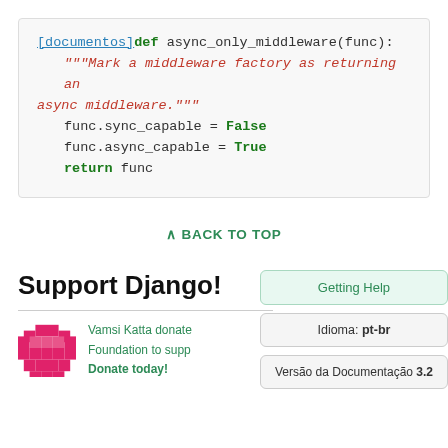[Figure (screenshot): Code block showing Python function async_only_middleware with syntax highlighting. [documentos] link in blue, 'def' keyword in green bold, docstring in red italic, assignments with False/True in green bold, return keyword in green bold.]
∧ BACK TO TOP
Support Django!
Vamsi Katta donated to the Django Software Foundation to support Django development. Donate today!
Getting Help
Idioma: pt-br
Versão da Documentação 3.2